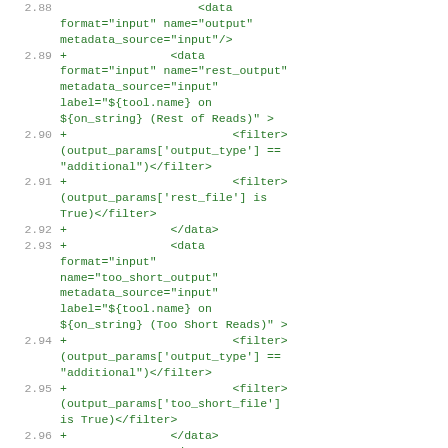2.88   <data format="input" name="output" metadata_source="input"/>
2.89 + <data format="input" name="rest_output" metadata_source="input" label="${tool.name} on ${on_string} (Rest of Reads)" >
2.90 + <filter>(output_params['output_type'] == "additional")</filter>
2.91 + <filter>(output_params['rest_file'] is True)</filter>
2.92 + </data>
2.93 + <data format="input" name="too_short_output" metadata_source="input" label="${tool.name} on ${on_string} (Too Short Reads)" >
2.94 + <filter>(output_params['output_type'] == "additional")</filter>
2.95 + <filter>(output_params['too_short_file'] is True)</filter>
2.96 + </data>
2.97 + <data format="input" name="untrimmed_output"